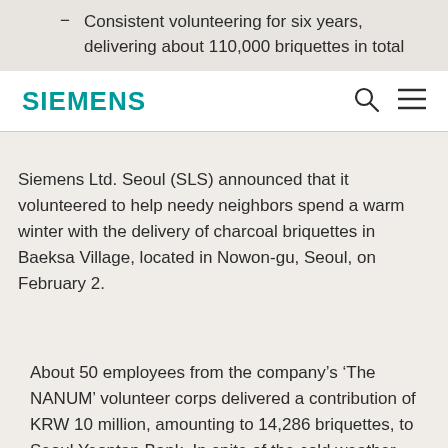Consistent volunteering for six years, delivering about 110,000 briquettes in total
SIEMENS
Siemens Ltd. Seoul (SLS) announced that it volunteered to help needy neighbors spend a warm winter with the delivery of charcoal briquettes in Baeksa Village, located in Nowon-gu, Seoul, on February 2.
About 50 employees from the company’s ‘The NANUM’ volunteer corps delivered a contribution of KRW 10 million, amounting to 14,286 briquettes, to Seoul Yeontan Bank. In spite of the cold weather, the volunteers